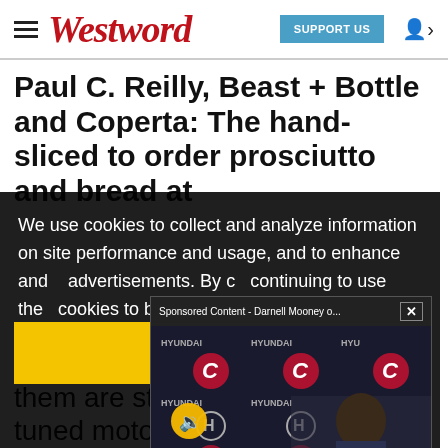Westword — SUPPORT US
Paul C. Reilly, Beast + Bottle and Coperta: The hand-sliced to order prosciutto and bread at [obscured] wn. [obscured] re still
We use cookies to collect and analyze information on site performance and usage, and to enhance and [obscured] advertisements. By c[obscured] continuing to use the[obscured] cookies to be placed[obscured] our cookies policy a[obscured]
[Figure (screenshot): Sponsored Content video popup showing Darnell Mooney press conference with Chicago Bears branding and Hyundai logos in background]
Got it!
from of them are still purring like a well-tuned motor